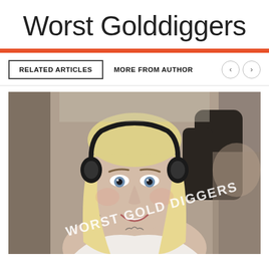Worst Golddiggers
RELATED ARTICLES   MORE FROM AUTHOR
[Figure (photo): Photo of a young blonde woman wearing headphones, smiling, sitting in what appears to be a vehicle or aircraft cockpit. A watermark reads 'WORST GOLD DIGGERS' diagonally across the lower portion.]